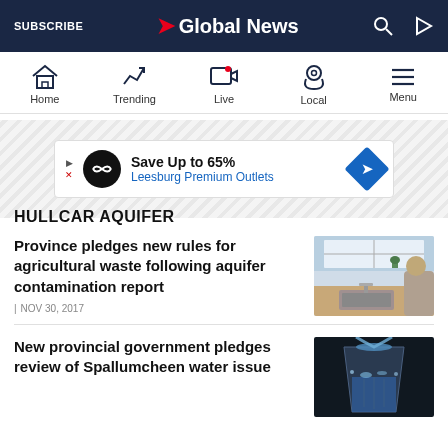SUBSCRIBE | Global News
[Figure (screenshot): Navigation bar with Home, Trending, Live, Local, Menu icons]
[Figure (other): Advertisement banner: Save Up to 65% Leesburg Premium Outlets]
HULLCAR AQUIFER
Province pledges new rules for agricultural waste following aquifer contamination report
| NOV 30, 2017
[Figure (photo): Person at kitchen sink with running water]
New provincial government pledges review of Spallumcheen water issue
[Figure (photo): Water pouring into glass]